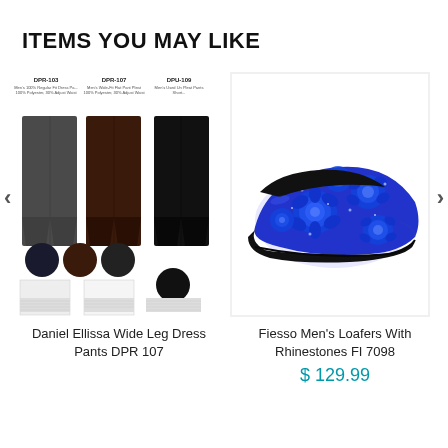ITEMS YOU MAY LIKE
[Figure (photo): Daniel Ellissa Wide Leg Dress Pants DPR 107 – product listing image showing multiple pant styles (DPR-103, DPR-107, DPU-109) and color swatches]
Daniel Ellissa Wide Leg Dress Pants DPR 107
[Figure (photo): Fiesso Men's blue loafer shoe with rhinestone floral rose pattern – FI 7098]
Fiesso Men's Loafers With Rhinestones FI 7098
$ 129.99